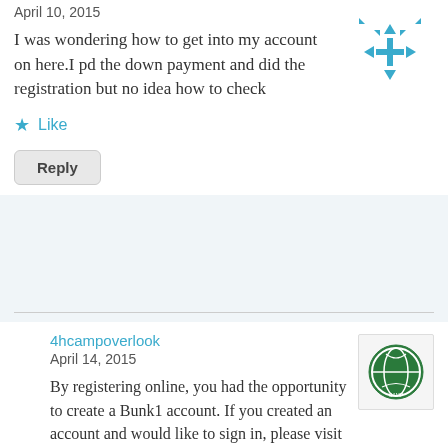April 10, 2015
I was wondering how to get into my account on here.I pd the down payment and did the registration but no idea how to check
Like
Reply
4hcampoverlook
April 14, 2015
By registering online, you had the opportunity to create a Bunk1 account. If you created an account and would like to sign in, please visit http://www.Bunk1.com and sign in. If you click on ‘My Account’, you will be able to see your payments and make additional